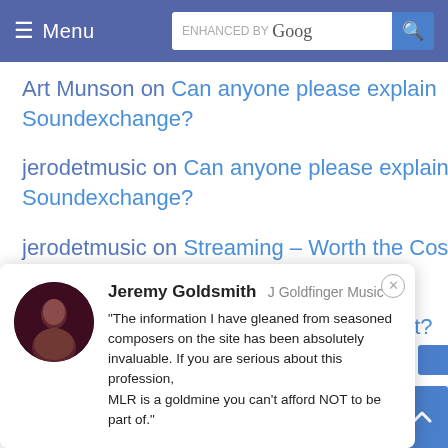Menu | ENHANCED BY Google [search]
Art Munson on Can anyone please explain Soundexchange?
jerodetmusic on Can anyone please explain Soundexchange?
jerodetmusic on Streaming – Worth the Cost ?
aethamusic on To form a company or not?
Jeremy Goldsmith J Goldfinger Music
"The information I have gleaned from seasoned composers on the site has been absolutely invaluable. If you are serious about this profession,
MLR is a goldmine you can't afford NOT to be part of."